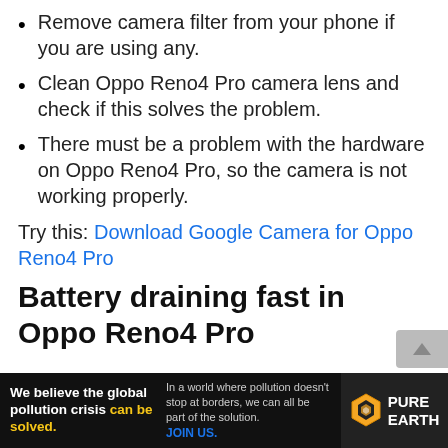Remove camera filter from your phone if you are using any.
Clean Oppo Reno4 Pro camera lens and check if this solves the problem.
There must be a problem with the hardware on Oppo Reno4 Pro, so the camera is not working properly.
Try this: Download Google Camera for Oppo Reno4 Pro
Battery draining fast in Oppo Reno4 Pro
[Figure (other): Advertisement banner for Pure Earth: 'We believe the global pollution crisis can be solved.' with text about global pollution and JOIN US call to action, with Pure Earth logo.]